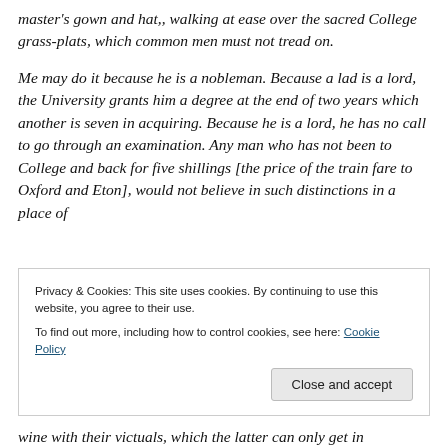master's gown and hat,, walking at ease over the sacred College grass-plats, which common men must not tread on.
Me may do it because he is a nobleman. Because a lad is a lord, the University grants him a degree at the end of two years which another is seven in acquiring. Because he is a lord, he has no call to go through an examination. Any man who has not been to College and back for five shillings [the price of the train fare to Oxford and Eton], would not believe in such distinctions in a place of
Privacy & Cookies: This site uses cookies. By continuing to use this website, you agree to their use. To find out more, including how to control cookies, see here: Cookie Policy
wine with their victuals, which the latter can only get in